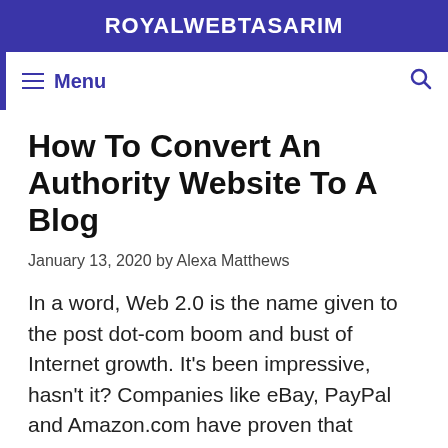ROYALWEBTASARIM
How To Convert An Authority Website To A Blog
January 13, 2020 by Alexa Matthews
In a word, Web 2.0 is the name given to the post dot-com boom and bust of Internet growth. It's been impressive, hasn't it? Companies like eBay, PayPal and Amazon.com have proven that business can be conducted on the Web